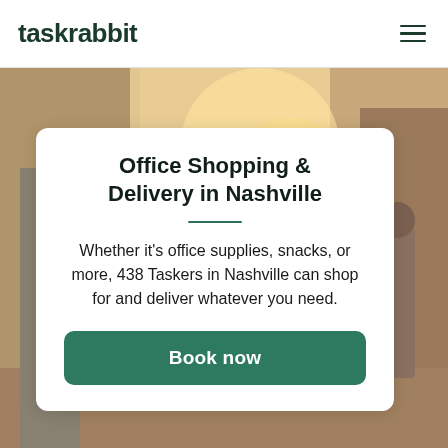taskrabbit
[Figure (photo): Street scene background photo showing people walking on a city sidewalk, with warm light tones]
Office Shopping & Delivery in Nashville
Whether it's office supplies, snacks, or more, 438 Taskers in Nashville can shop for and deliver whatever you need.
Book now